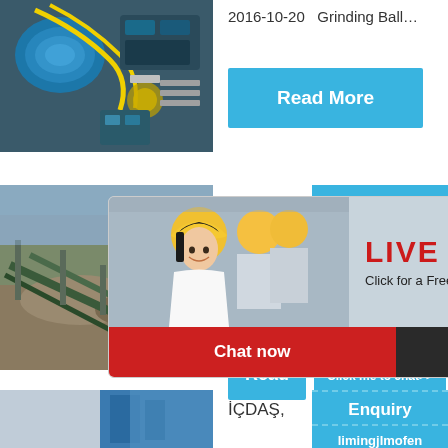[Figure (photo): Industrial machinery/equipment from above, colorful wires and mechanical components]
2016-10-20   Grinding Ball…
Read More
[Figure (photo): Construction/mining site with conveyor belts and piles of ore or gravel]
[Figure (photo): Live chat popup with three workers in yellow hard hats, woman in front smiling]
LIVE CHAT
Click for a Free Consultation
Chat now
Chat later
hour online
[Figure (illustration): Cone crusher machine illustration on blue background]
Click me to chat>>
Read
Enquiry
limingjlmofen
[Figure (photo): Partial view of industrial structure, blue tones]
İÇDAŞ,